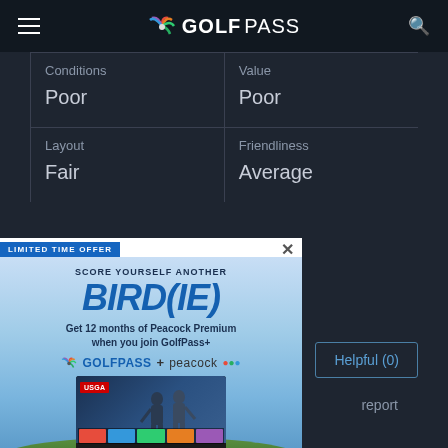GOLFPASS
| Conditions | Value |
| --- | --- |
| Poor | Poor |
| Layout | Friendliness |
| Fair | Average |
[Figure (screenshot): GolfPass advertisement overlay with LIMITED TIME OFFER banner. Score yourself another BIRD(IE). Get 12 months of Peacock Premium when you join GolfPass+. GolfPass + peacock logos. JOIN NOW button. Shows USGA golf streaming interface on screen.]
Helpful (0)
report